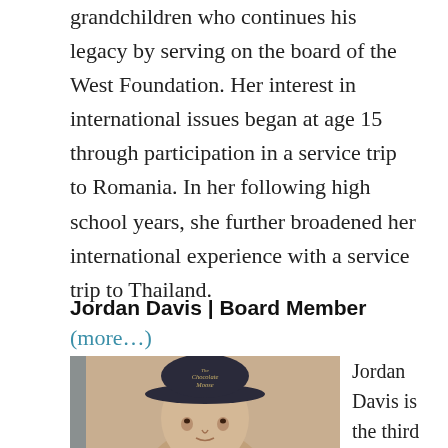grandchildren who continues his legacy by serving on the board of the West Foundation. Her interest in international issues began at age 15 through participation in a service trip to Romania. In her following high school years, she further broadened her international experience with a service trip to Thailand.
(more…)
Jordan Davis | Board Member
[Figure (photo): Photo of Jordan Davis wearing a dark baseball cap with 'The Chocolate Moose' text]
Jordan Davis is the third of